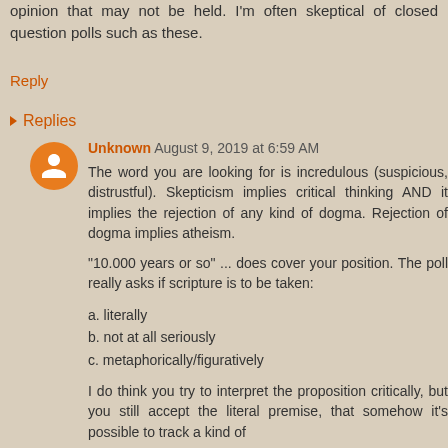opinion that may not be held. I'm often skeptical of closed question polls such as these.
Reply
Replies
Unknown  August 9, 2019 at 6:59 AM
The word you are looking for is incredulous (suspicious, distrustful). Skepticism implies critical thinking AND it implies the rejection of any kind of dogma. Rejection of dogma implies atheism.
"10.000 years or so" ... does cover your position. The poll really asks if scripture is to be taken:
a. literally
b. not at all seriously
c. metaphorically/figuratively
I do think you try to interpret the proposition critically, but you still accept the literal premise, that somehow it's possible to track a kind of